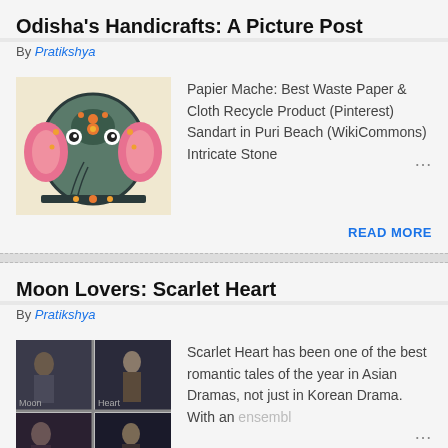Odisha's Handicrafts: A Picture Post
By Pratikshya
[Figure (photo): Papier mache elephant mask with colorful patterns]
Papier Mache: Best Waste Paper & Cloth Recycle Product (Pinterest) Sandart in Puri Beach (WikiCommons) Intricate Stone …
READ MORE
Moon Lovers: Scarlet Heart
By Pratikshya
[Figure (photo): Grid of four drama stills from Moon Lovers: Scarlet Heart]
Scarlet Heart has been one of the best romantic tales of the year in Asian Dramas, not just in Korean Drama. With an ensemble …
READ MORE